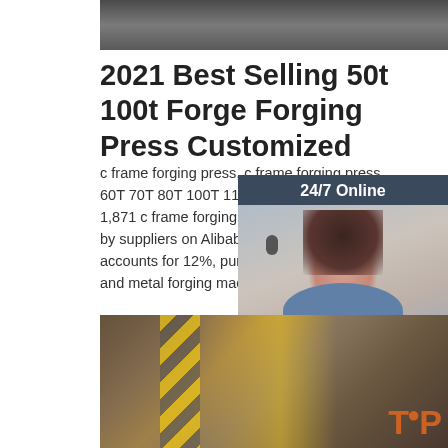[Figure (photo): Top partial image of industrial machinery/forging press equipment, dark tones]
2021 Best Selling 50t 100t Forge Forging Press Customized
c frame forging press, c frame forging press . 60T 70T 80T 100T 110T high-quality cold forgi 1,871 c frame forging press products are offer by suppliers on Alibaba.com, of which hydrauli accounts for 12%, punching machines accoun and metal forging machinery accounts for 1%.
[Figure (photo): 24/7 Online chat widget with photo of woman with headset, dark blue background, quotation button]
[Figure (photo): Get Price orange button]
[Figure (photo): Bottom image of workshop/forging machinery area with yellow safety stripe and TOP logo overlay]